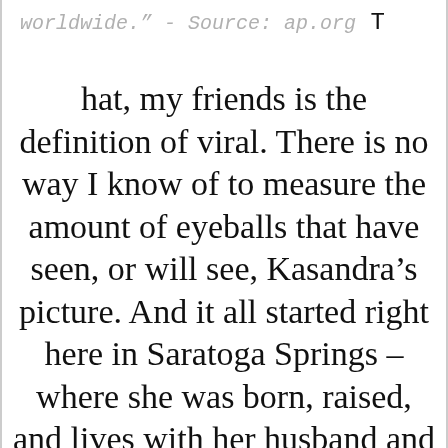worldwide." - Source: ap.org T
hat, my friends is the definition of viral. There is no way I know of to measure the amount of eyeballs that have seen, or will see, Kasandra’s picture. And it all started right here in Saratoga Springs – where she was born, raised, and lives with her husband and daughter.